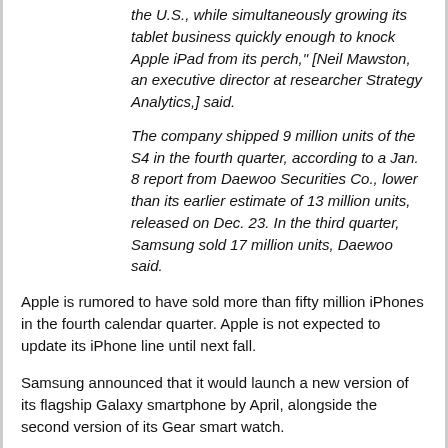the U.S., while simultaneously growing its tablet business quickly enough to knock Apple iPad from its perch," [Neil Mawston, an executive director at researcher Strategy Analytics,] said.
The company shipped 9 million units of the S4 in the fourth quarter, according to a Jan. 8 report from Daewoo Securities Co., lower than its earlier estimate of 13 million units, released on Dec. 23. In the third quarter, Samsung sold 17 million units, Daewoo said.
Apple is rumored to have sold more than fifty million iPhones in the fourth calendar quarter. Apple is not expected to update its iPhone line until next fall.
Samsung announced that it would launch a new version of its flagship Galaxy smartphone by April, alongside the second version of its Gear smart watch.
(Image courtesy Business Insider)